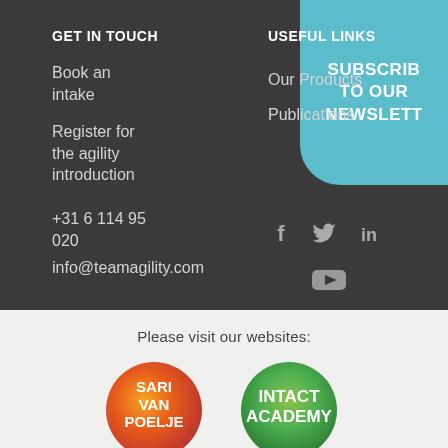GET IN TOUCH
USEFUL LINKS
[Figure (other): Teal subscribe button with text: SUBSCRIBE TO OUR NEWSLETTER]
Book an intake
Register for the agility introduction
+31 6 114 95 020
info@teamagility.com
Our Products
Publications
[Figure (other): Social media icons: Facebook (f), Twitter (bird), LinkedIn (in), YouTube (play button)]
Please visit our websites:
[Figure (logo): Sari Van Poelje logo - red/orange circular logo with white text]
[Figure (logo): Intact Academy logo - green circular logo with white text]